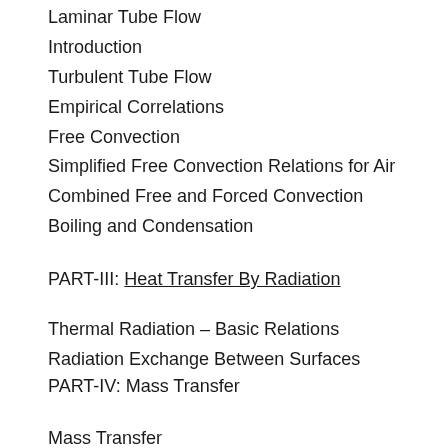Laminar Tube Flow
Introduction
Turbulent Tube Flow
Empirical Correlations
Free Convection
Simplified Free Convection Relations for Air
Combined Free and Forced Convection
Boiling and Condensation
PART-III: Heat Transfer By Radiation
Thermal Radiation – Basic Relations
Radiation Exchange Between Surfaces
PART-IV: Mass Transfer
Mass Transfer
PART-V: Objective Type Question Bank